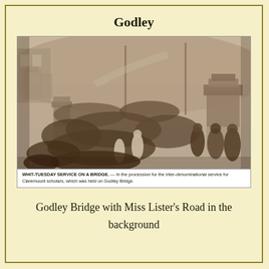Godley
[Figure (photo): Black and white historical photograph showing a large crowd of people, including Claremount scholars, gathered on Godley Bridge for a Whit-Tuesday inter-denominational service. The bridge has decorative stone or wooden pillars/gateposts visible on the right. In the background, a road (Miss Lister's Road) winds up a hillside with buildings visible.]
WHIT-TUESDAY SERVICE ON A BRIDGE. — In the procession for the inter-denominational service for Claremount scholars, which was held on Godley Bridge.
Godley Bridge with Miss Lister's Road in the background